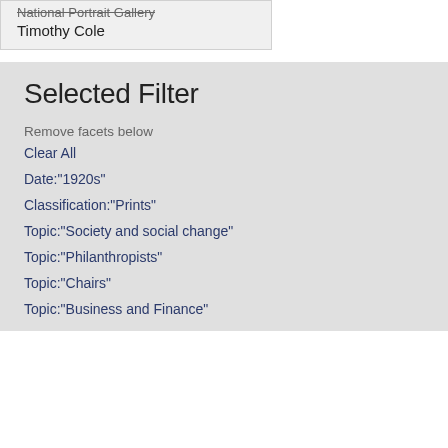National Portrait Gallery
Timothy Cole
Selected Filter
Remove facets below
Clear All
Date:"1920s"
Classification:"Prints"
Topic:"Society and social change"
Topic:"Philanthropists"
Topic:"Chairs"
Topic:"Business and Finance"